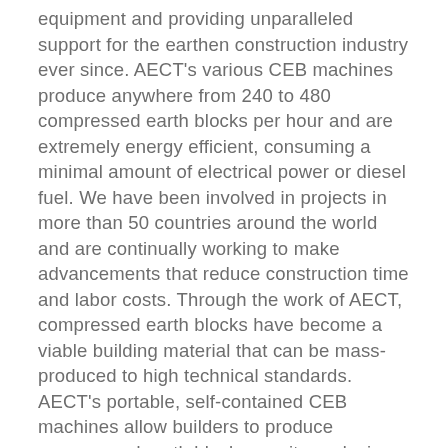equipment and providing unparalleled support for the earthen construction industry ever since. AECT's various CEB machines produce anywhere from 240 to 480 compressed earth blocks per hour and are extremely energy efficient, consuming a minimal amount of electrical power or diesel fuel. We have been involved in projects in more than 50 countries around the world and are continually working to make advancements that reduce construction time and labor costs. Through the work of AECT, compressed earth blocks have become a viable building material that can be mass-produced to high technical standards. AECT's portable, self-contained CEB machines allow builders to produce compressed earth blocks on site, reducing cost and carbon footprint for both residential and commercial construction.